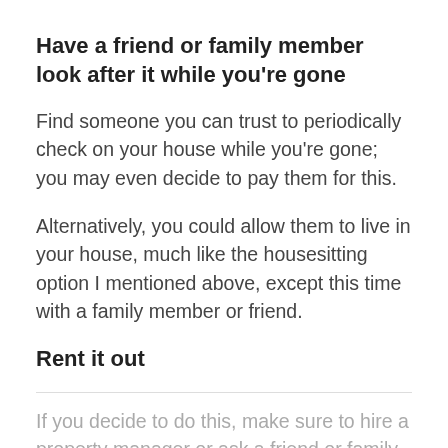Have a friend or family member look after it while you’re gone
Find someone you can trust to periodically check on your house while you’re gone; you may even decide to pay them for this.
Alternatively, you could allow them to live in your house, much like the housesitting option I mentioned above, except this time with a family member or friend.
Rent it out
If you decide to do this, make sure to hire a property manager or ask a friend or family